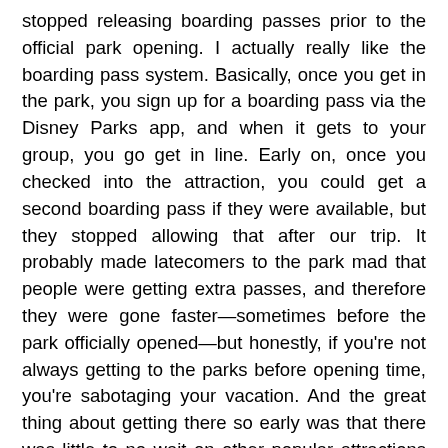stopped releasing boarding passes prior to the official park opening. I actually really like the boarding pass system. Basically, once you get in the park, you sign up for a boarding pass via the Disney Parks app, and when it gets to your group, you go get in line. Early on, once you checked into the attraction, you could get a second boarding pass if they were available, but they stopped allowing that after our trip. It probably made latecomers to the park mad that people were getting extra passes, and therefore they were gone faster—sometimes before the park officially opened—but honestly, if you're not always getting to the parks before opening time, you're sabotaging your vacation. And the great thing about getting there so early was that there was little to no wait on other popular attractions like the rides in Toy Story Land, and even Millennium Falcon was a much shorter wait than what we did earlier in the week.
[Figure (photo): Partial photo of what appears to be the Millennium Falcon ride structure at Disney's Hollywood Studios, showing large dark blue angular panels against a light blue sky with some trees visible.]